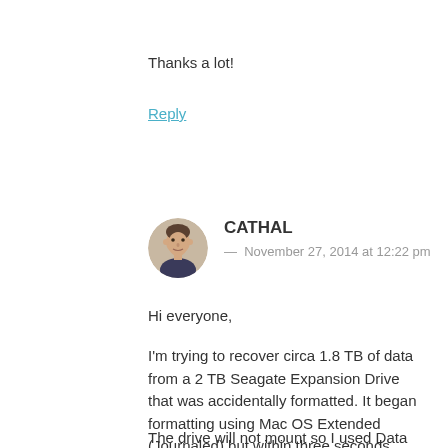Thanks a lot!
Reply
[Figure (photo): Circular avatar photo of a young man with short hair, wearing a dark top]
CATHAL
— November 27, 2014 at 12:22 pm
Hi everyone,
I'm trying to recover circa 1.8 TB of data from a 2 TB Seagate Expansion Drive that was accidentally formatted. It began formatting using Mac OS Extended (Journaled) but within three seconds, when the mistake was realized it was unplugged while still mounted.
The drive will not mount so I used Data